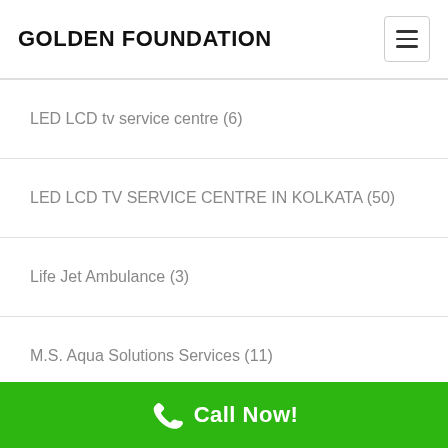GOLDEN FOUNDATION
LED LCD tv service centre (6)
LED LCD TV SERVICE CENTRE IN KOLKATA (50)
Life Jet Ambulance (3)
M.S. Aqua Solutions Services (11)
Mobile App (35)
Msaqua keyword (1)
news portal website design (1)
Positive Think (1)
Relay service centre (30) [partial]
Call Now!